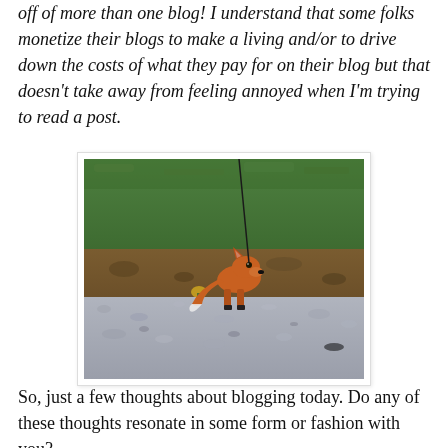off of more than one blog! I understand that some folks monetize their blogs to make a living and/or to drive down the costs of what they pay for on their blog but that doesn't take away from feeling annoyed when I'm trying to read a post.
[Figure (photo): A red fox on a leash standing on a gravel surface in front of a grassy hillside]
So, just a few thoughts about blogging today. Do any of these thoughts resonate in some form or fashion with you?
When does this kind of fox become more than just a...